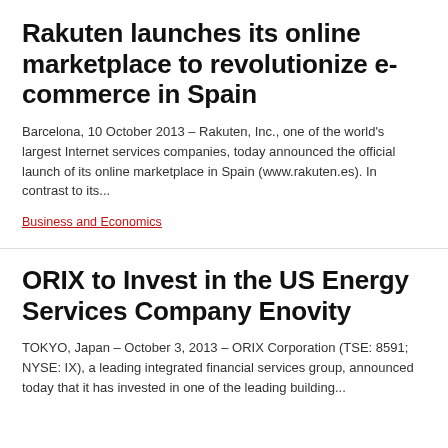Rakuten launches its online marketplace to revolutionize e-commerce in Spain
Barcelona, 10 October 2013 – Rakuten, Inc., one of the world's largest Internet services companies, today announced the official launch of its online marketplace in Spain (www.rakuten.es). In contrast to its...
Business and Economics
ORIX to Invest in the US Energy Services Company Enovity
TOKYO, Japan – October 3, 2013 – ORIX Corporation (TSE: 8591; NYSE: IX), a leading integrated financial services group, announced today that it has invested in one of the leading building...